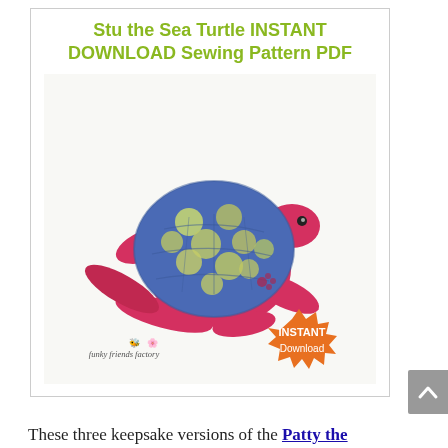[Figure (photo): Product listing image for 'Stu the Sea Turtle INSTANT DOWNLOAD Sewing Pattern PDF'. Shows a stuffed sea turtle toy with a blue patterned shell and red/pink body, flippers extended. Includes a Funky Friends Factory logo and an orange 'INSTANT Download' badge starburst. Title text in olive/yellow-green bold font at top of image box.]
These three keepsake versions of the Patty the